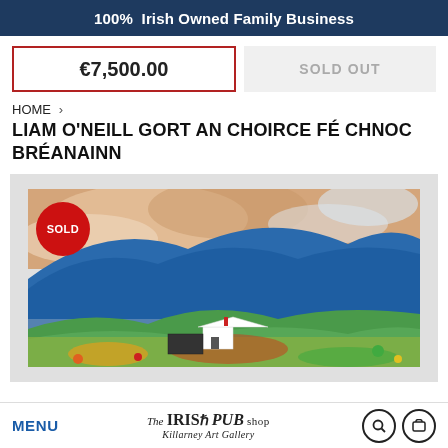100% Irish Owned Family Business
€7,500.00
SOLD OUT
HOME › LIAM O'NEILL GORT AN CHOIRCE FÉ CHNOC BRÉANAINN
LIAM O'NEILL GORT AN CHOIRCE FÉ CHNOC BRÉANAINN
[Figure (photo): Colorful oil painting of Irish landscape with mountains, sky, and white cottage. A red 'SOLD' badge is overlaid on the top-left corner of the painting.]
MENU | The Irish Pub Shop Killarney Art Gallery